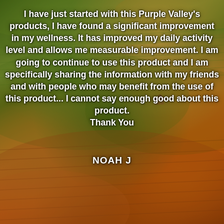[Figure (photo): Aerial/elevated view of rolling vineyard hills with green and autumn-orange/red grapevine rows, terraced slopes, warm golden sunlight, lush landscape.]
I have just started with this Purple Valley's products, I have found a significant improvement in my wellness. It has improved my daily activity level and allows me measurable improvement. I am going to continue to use this product and I am specifically sharing the information with my friends and with people who may benefit from the use of this product... I cannot say enough good about this product. Thank You
NOAH J